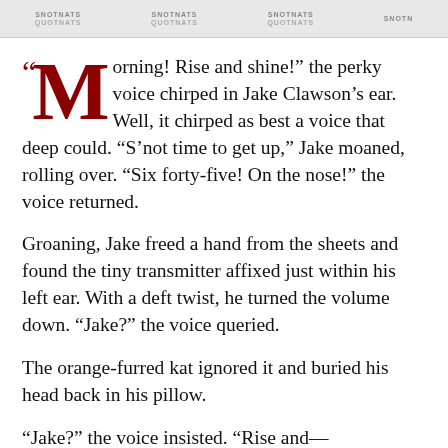SNOTNATS QUOTNATS SNOTNATS QUOTNATS SNOTNATS QUOTNATS SNOTNATS
“Morning! Rise and shine!” the perky voice chirped in Jake Clawson’s ear. Well, it chirped as best a voice that deep could. “S’not time to get up,” Jake moaned, rolling over. “Six forty-five! On the nose!” the voice returned.
Groaning, Jake freed a hand from the sheets and found the tiny transmitter affixed just within his left ear. With a deft twist, he turned the volume down. “Jake?” the voice queried.
The orange-furred kat ignored it and buried his head back in his pillow.
“Jake?” the voice insisted. “Rise and—